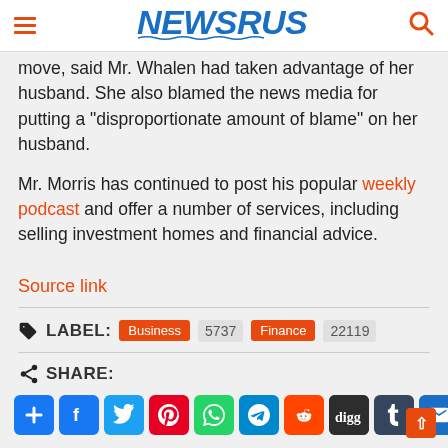NEWSRUST
move, said Mr. Whalen had taken advantage of her husband. She also blamed the news media for putting a “disproportionate amount of blame” on her husband.
Mr. Morris has continued to post his popular weekly podcast and offer a number of services, including selling investment homes and financial advice.
Source link
LABEL: Business 5737 Finance 22119
SHARE: